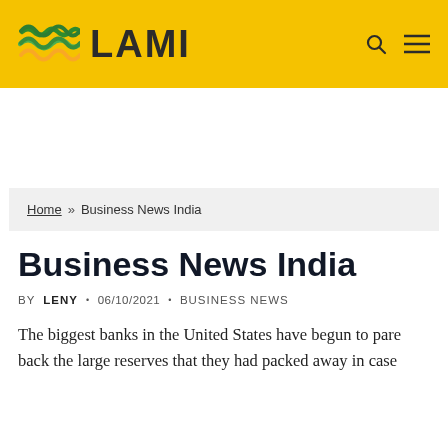[Figure (logo): LAMI website header with yellow background, wave logo icon in green and yellow, LAMI text in dark bold, search and hamburger menu icons]
Home » Business News India
Business News India
BY LENY · 06/10/2021 · BUSINESS NEWS
The biggest banks in the United States have begun to pare back the large reserves that they had packed away in case...